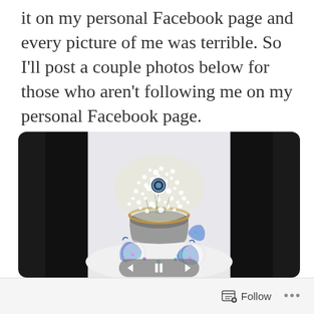it on my personal Facebook page and every picture of me was terrible. So I'll post a couple photos below for those who aren't following me on my personal Facebook page.
[Figure (photo): A tablet or laptop screen showing a photo of a floral centerpiece arrangement — a basket filled with white baby's breath flowers with a small circular sign in the center, surrounded by blue fabric pouches with colorful gems/candies on a white surface. Video player controls (back, pause, forward) are visible at the bottom of the image.]
Follow ···